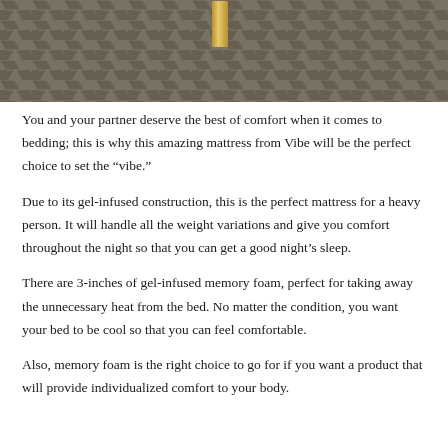[Figure (photo): Overhead/partial view of a bed with a herringbone-patterned fabric or rug and a gold metal bed leg visible at the top center.]
You and your partner deserve the best of comfort when it comes to bedding; this is why this amazing mattress from Vibe will be the perfect choice to set the “vibe.”
Due to its gel-infused construction, this is the perfect mattress for a heavy person. It will handle all the weight variations and give you comfort throughout the night so that you can get a good night’s sleep.
There are 3-inches of gel-infused memory foam, perfect for taking away the unnecessary heat from the bed. No matter the condition, you want your bed to be cool so that you can feel comfortable.
Also, memory foam is the right choice to go for if you want a product that will provide individualized comfort to your body.